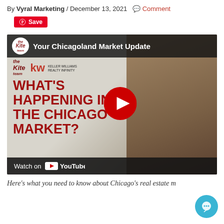By Vyral Marketing / December 13, 2021 Comment
[Figure (screenshot): Pinterest Save button with red background and pin icon]
[Figure (screenshot): YouTube video thumbnail for 'Your Chicagoland Market Update' by The Kite Team / KW Keller Williams Realty Infinity. Text on thumbnail: WHAT'S HAPPENING IN THE CHICAGO MARKET? Watch on YouTube. Red play button overlay. Woman with curly hair visible on right side.]
Here's what you need to know about Chicago's real estate m...